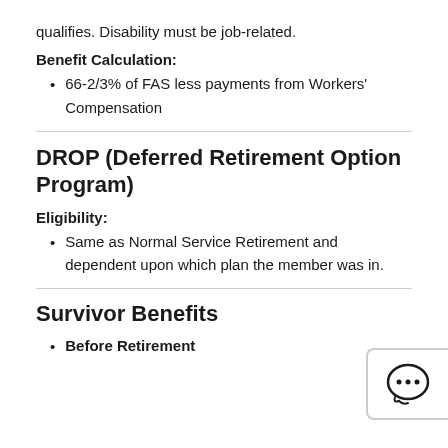qualifies. Disability must be job-related.
Benefit Calculation:
66-2/3% of FAS less payments from Workers' Compensation
DROP (Deferred Retirement Option Program)
Eligibility:
Same as Normal Service Retirement and dependent upon which plan the member was in.
Survivor Benefits
Before Retirement
[Figure (illustration): Chat bubble icon with three dots, positioned in the bottom right corner of the page.]